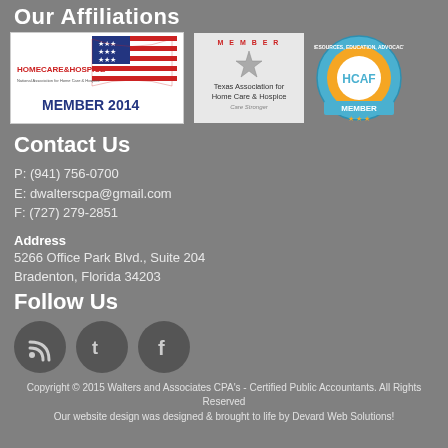Our Affiliations
[Figure (logo): Three affiliation logos: Homecare & Hospice Member 2014, Texas Association for Home Care & Hospice, and HCAF Member badge]
Contact Us
P: (941) 756-0700
E: dwalterscpa@gmail.com
F: (727) 279-2851
Address
5266 Office Park Blvd., Suite 204
Bradenton, Florida 34203
Follow Us
[Figure (illustration): Three social media icons: RSS, Twitter, Facebook]
Copyright © 2015 Walters and Associates CPA's - Certified Public Accountants. All Rights Reserved
Our website design was designed & brought to life by Devard Web Solutions!